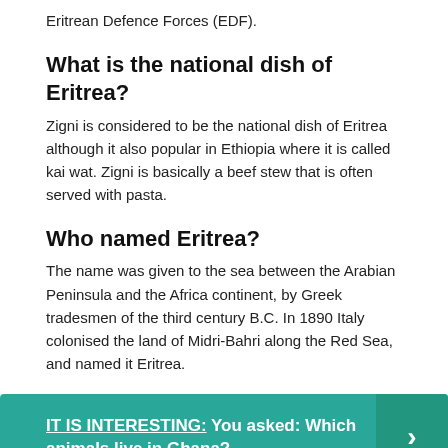Eritrean Defence Forces (EDF).
What is the national dish of Eritrea?
Zigni is considered to be the national dish of Eritrea although it also popular in Ethiopia where it is called kai wat. Zigni is basically a beef stew that is often served with pasta.
Who named Eritrea?
The name was given to the sea between the Arabian Peninsula and the Africa continent, by Greek tradesmen of the third century B.C. In 1890 Italy colonised the land of Midri-Bahri along the Red Sea, and named it Eritrea.
IT IS INTERESTING: You asked: Which animals live in Ghana?
Who colonized Eritrea first?